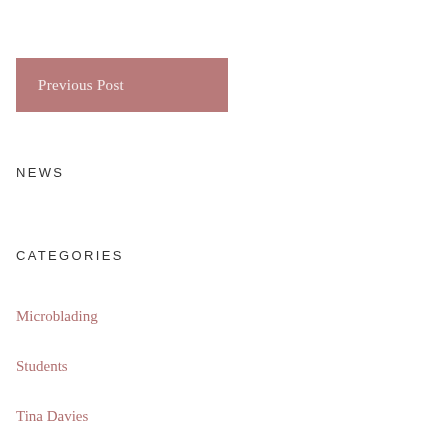Previous Post
NEWS
CATEGORIES
Microblading
Students
Tina Davies